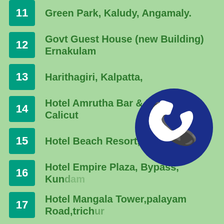11 Green Park, Kaludy, Angamaly.
12 Govt Guest House (new Building) Ernakulam
13 Harithagiri, Kalpatta,
14 Hotel Amrutha Bar & Restaurant, Calicut
15 Hotel Beach Resort, Beach Road
16 Hotel Empire Plaza, Bypass, Kund...m
17 Hotel Mangala Tower,palayam Road,trichur
18 Hotel Sea Queen, Beach Road, Calicut.
19 Hotel Sudarshana – Kollam.
20 Infopark Smart Space, (vismaya lt Kitchen), Kakkanad